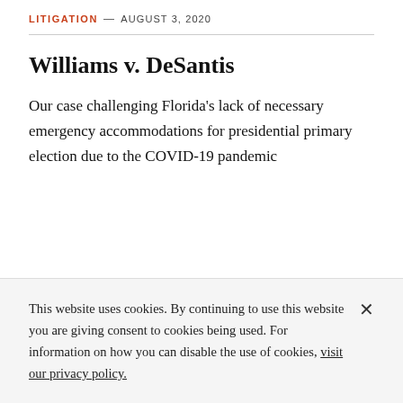LITIGATION — AUGUST 3, 2020
Williams v. DeSantis
Our case challenging Florida's lack of necessary emergency accommodations for presidential primary election due to the COVID-19 pandemic
This website uses cookies. By continuing to use this website you are giving consent to cookies being used. For information on how you can disable the use of cookies, visit our privacy policy.